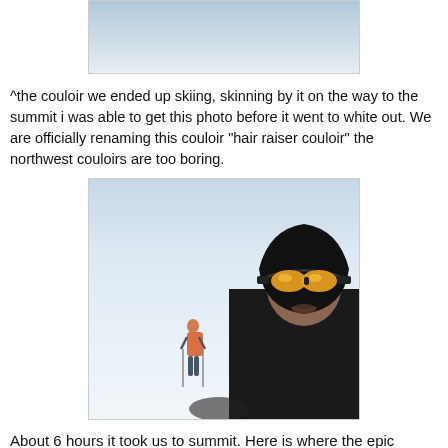[Figure (photo): Partial view of a snowy couloir, cropped at the top of the page, showing a grey-blue snowy slope.]
^the couloir we ended up skiing, skinning by it on the way to the summit i was able to get this photo before it went to white out. We are officially renaming this couloir "hair raiser couloir" the northwest couloirs are too boring.
[Figure (photo): Two people on a snowy summit in whiteout conditions. On the left, a person in an orange jacket with ski poles stands in the distance. On the right, a selfie close-up of a person wearing a black jacket and yellow-lens ski goggles.]
About 6 hours it took us to summit. Here is where the epic